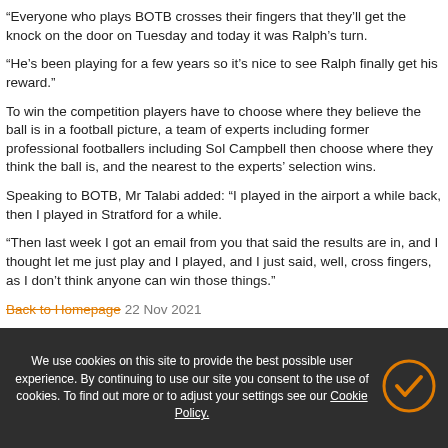“Everyone who plays BOTB crosses their fingers that they’ll get the knock on the door on Tuesday and today it was Ralph’s turn.
“He’s been playing for a few years so it’s nice to see Ralph finally get his reward.”
To win the competition players have to choose where they believe the ball is in a football picture, a team of experts including former professional footballers including Sol Campbell then choose where they think the ball is, and the nearest to the experts’ selection wins.
Speaking to BOTB, Mr Talabi added: “I played in the airport a while back, then I played in Stratford for a while.
“Then last week I got an email from you that said the results are in, and I thought let me just play and I played, and I just said, well, cross fingers, as I don’t think anyone can win those things.”
Back to Homepage  22 Nov 2021
We use cookies on this site to provide the best possible user experience. By continuing to use our site you consent to the use of cookies. To find out more or to adjust your settings see our Cookie Policy.